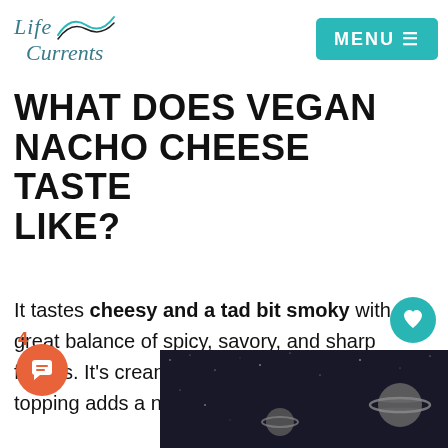[Figure (logo): Life Currents logo with teal italic text and wave graphic, plus teal MENU button]
WHAT DOES VEGAN NACHO CHEESE TASTE LIKE?
It tastes cheesy and a tad bit smoky with a great balance of spicy, savory, and sharp flavors. It's creamy and rich, and the meaty topping adds a nice heartiness to it.
[Figure (photo): Dark space/galaxy themed image visible at bottom of page]